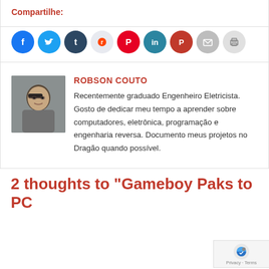Compartilhe:
[Figure (illustration): Row of social media sharing icon circles: Facebook (blue), Twitter (light blue), Tumblr (dark blue), Reddit (light gray), Pinterest (red), LinkedIn (teal), Pocket (dark red), Email (gray), Print (light gray)]
[Figure (photo): Author photo of Robson Couto, a man with sunglasses making a gesture]
ROBSON COUTO
Recentemente graduado Engenheiro Eletricista. Gosto de dedicar meu tempo a aprender sobre computadores, eletrônica, programação e engenharia reversa. Documento meus projetos no Dragão quando possível.
2 thoughts to “Gameboy Paks to PC